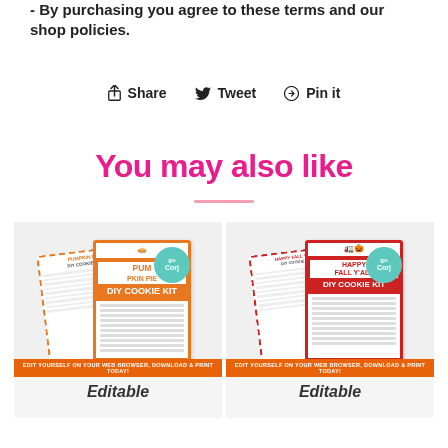- By purchasing you agree to these terms and our shop policies.
Share   Tweet   Pin it
You may also like
[Figure (photo): Pumpkin Pie DIY Cookie Kit printable cards product thumbnail with teal 'go Corj' badge]
EDIT YOURSELF ON YOUR WEB BROWSER, DOWNLOAD & PRINT TODAY!
Editable
[Figure (photo): Happy Fall Y'all DIY Cookie Kit printable cards product thumbnail with teal 'go Corj' badge]
EDIT YOURSELF ON YOUR WEB BROWSER, DOWNLOAD & PRINT TODAY!
Editable